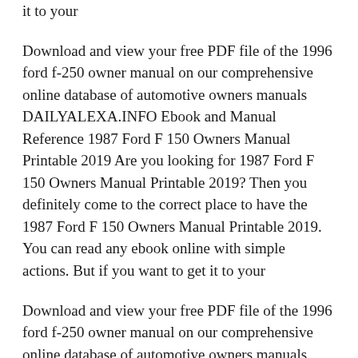it to your
Download and view your free PDF file of the 1996 ford f-250 owner manual on our comprehensive online database of automotive owners manuals DAILYALEXA.INFO Ebook and Manual Reference 1987 Ford F 150 Owners Manual Printable 2019 Are you looking for 1987 Ford F 150 Owners Manual Printable 2019? Then you definitely come to the correct place to have the 1987 Ford F 150 Owners Manual Printable 2019. You can read any ebook online with simple actions. But if you want to get it to your
Download and view your free PDF file of the 1996 ford f-250 owner manual on our comprehensive online database of automotive owners manuals